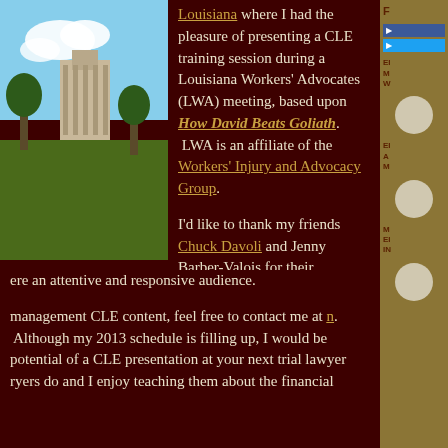[Figure (photo): Photograph of a building or monument with blue sky and trees, partially visible on the left side of the page]
Louisiana where I had the pleasure of presenting a CLE training session during a Louisiana Workers' Advocates (LWA) meeting, based upon How David Beats Goliath. LWA is an affiliate of the Workers' Injury and Advocacy Group.
I'd like to thank my friends Chuck Davoli and Jenny Barber-Valois for their hospitality. They made me feel so [welcome and] there an attentive and responsive audience.
[...management CLE content, feel free to contact me at [...]. Although my 2013 schedule is filling up, I would be [...] potential of a CLE presentation at your next trial lawyer [...] ryers do and I enjoy teaching them about the financial